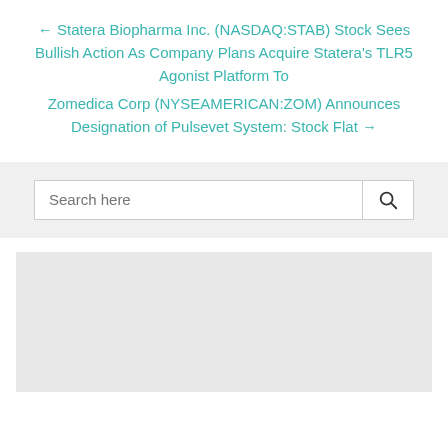← Statera Biopharma Inc. (NASDAQ:STAB) Stock Sees Bullish Action As Company Plans Acquire Statera's TLR5 Agonist Platform To
Zomedica Corp (NYSEAMERICAN:ZOM) Announces Designation of Pulsevet System: Stock Flat →
[Figure (screenshot): Search box with placeholder text 'Search here' and a search icon button on the right]
[Figure (other): Gray advertisement or placeholder block]